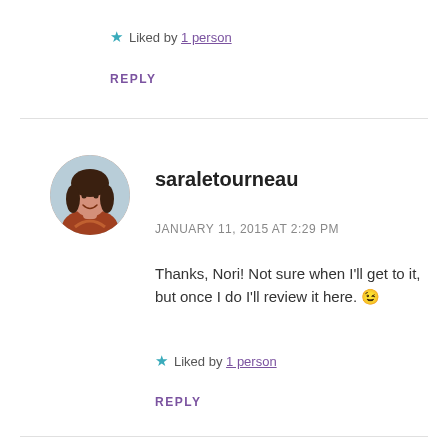★ Liked by 1 person
REPLY
[Figure (photo): Circular avatar photo of a smiling woman with dark hair, wearing a red top, against a blurred background.]
saraletourneau
JANUARY 11, 2015 AT 2:29 PM
Thanks, Nori! Not sure when I'll get to it, but once I do I'll review it here. 😉
★ Liked by 1 person
REPLY